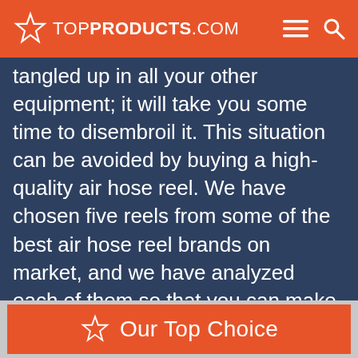TOPPRODUCTS.COM
tangled up in all your other equipment; it will take you some time to disembroil it. This situation can be avoided by buying a high-quality air hose reel. We have chosen five reels from some of the best air hose reel brands on market, and we have analyzed each of them so that you can make an ideal decision when buying one.
Our Top Choice